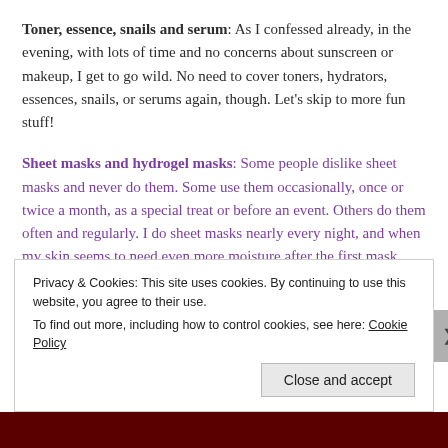Toner, essence, snails and serum: As I confessed already, in the evening, with lots of time and no concerns about sunscreen or makeup, I get to go wild. No need to cover toners, hydrators, essences, snails, or serums again, though. Let's skip to more fun stuff!
Sheet masks and hydrogel masks: Some people dislike sheet masks and never do them. Some use them occasionally, once or twice a month, as a special treat or before an event. Others do them often and regularly. I do sheet masks nearly every night, and when my skin seems to need even more moisture after the first mask comes off, I do two. I keep a big variety of sheet
Privacy & Cookies: This site uses cookies. By continuing to use this website, you agree to their use.
To find out more, including how to control cookies, see here: Cookie Policy